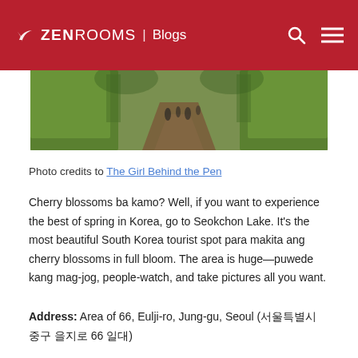ZEN ROOMS | Blogs
[Figure (photo): People walking along a tree-lined path with green hedges on both sides, viewed from behind]
Photo credits to The Girl Behind the Pen
Cherry blossoms ba kamo? Well, if you want to experience the best of spring in Korea, go to Seokchon Lake. It's the most beautiful South Korea tourist spot para makita ang cherry blossoms in full bloom. The area is huge—puwede kang mag-jog, people-watch, and take pictures all you want.
Address: Area of 66, Eulji-ro, Jung-gu, Seoul (서울특별시 중구 을지로 66 일대)